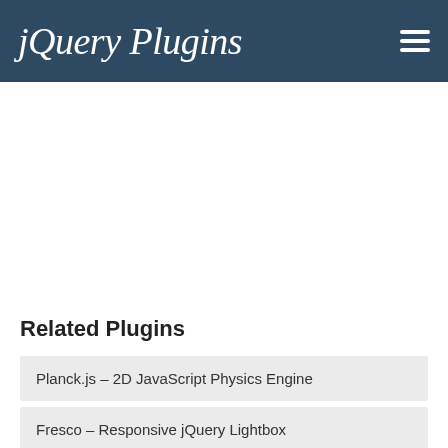jQuery Plugins
[Figure (other): Advertisement/blank white space area]
Related Plugins
Planck.js – 2D JavaScript Physics Engine
Fresco – Responsive jQuery Lightbox
Video.js – Open Source HTML5 Video Player